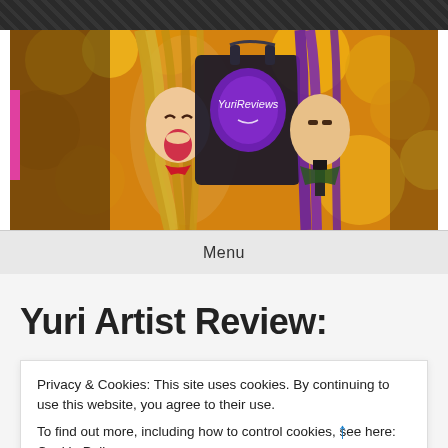[Figure (illustration): Website banner for YuriReviews showing two anime characters (one with long blonde hair and one with purple hair) against an autumn orange/yellow leaf background, with a dark tote bag in the center displaying 'YuriReviews' text]
Menu
Yuri Artist Review:
Privacy & Cookies: This site uses cookies. By continuing to use this website, you agree to their use.
To find out more, including how to control cookies, see here: Cookie Policy
Close and accept